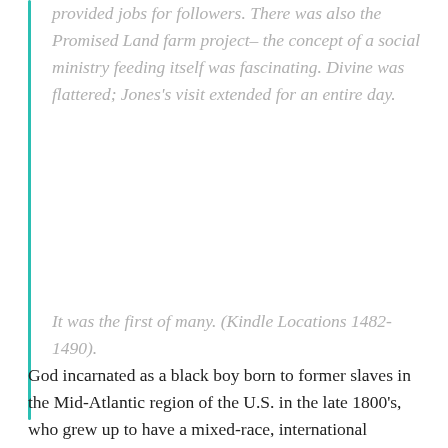provided jobs for followers. There was also the Promised Land farm project– the concept of a social ministry feeding itself was fascinating. Divine was flattered; Jones's visit extended for an entire day.
It was the first of many. (Kindle Locations 1482-1490).
God incarnated as a black boy born to former slaves in the Mid-Atlantic region of the U.S. in the late 1800's, who grew up to have a mixed-race, international following of millions at a time when Billie Holiday's